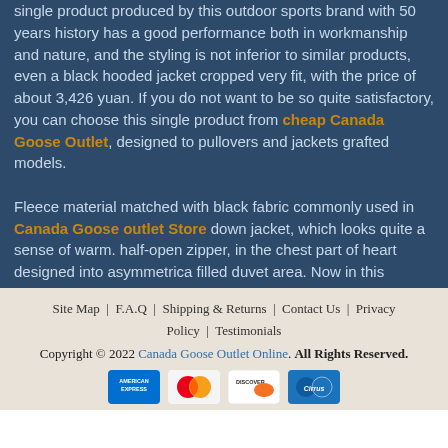single product produced by this outdoor sports brand with 50 years history has a good performance both in workmanship and nature, and the styling is not inferior to similar products, even a black hooded jacket cropped very fit, with the price of about 3,426 yuan. If you do not want to be so quite satisfactory, you can choose this single product from cheap Canada Goose Outlet, designed to pullovers and jackets grafted models.
Fleece material matched with black fabric commonly used in Canada Goose outlet Store down jacket, which looks quite a sense of warm. half-open zipper, in the chest part of heart designed into asymmetrical filled duvet area. Now in this season, wear it in a coat, both trend and warm, it is worth a try.
Site Map | F.A.Q | Shipping & Returns | Contact Us | Privacy Policy | Testimonials
Copyright © 2022 Canada Goose Outlet Online. All Rights Reserved.
[Figure (other): Payment method icons: American Express, MasterCard, Discover, Cirrus]